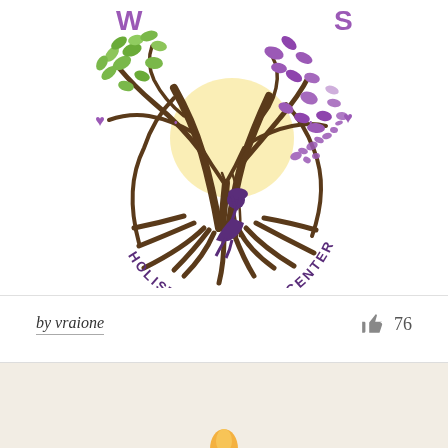[Figure (logo): Whispering Roots Holistic Learning Center logo: a stylized tree with brown twisted roots and branches, green and purple leaves, a child swinging on a rope swing silhouetted in purple, butterflies flying away, yellow circular glow behind the child, purple heart accents on sides, and curved text reading 'HOLISTIC LEARNING CENTER' below in purple/dark lettering]
by vraione
76
[Figure (logo): Partial view of another logo on a cream/off-white textured background, showing what appears to be a small flame or droplet shape at the bottom center, partially cut off]